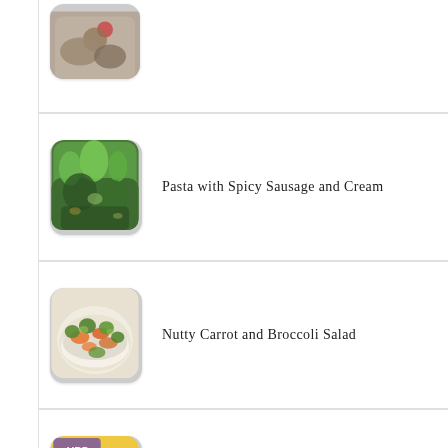[Figure (photo): Partial view of a food dish thumbnail at top of list (cut off)]
[Figure (photo): Thumbnail of herbs/garden greenery for Pasta with Spicy Sausage and Cream recipe]
Pasta with Spicy Sausage and Cream
[Figure (photo): Thumbnail of carrot and broccoli salad in a bowl]
Nutty Carrot and Broccoli Salad
[Figure (photo): Thumbnail of chocolate fudge cake with colorful candy decorations]
Donal Skehan's Naughty Chocolate Fudge Cake
[Figure (photo): Partial thumbnail of a dish for A Father's Day Book & Cake (cut off at bottom)]
A Father's Day Book & Cake